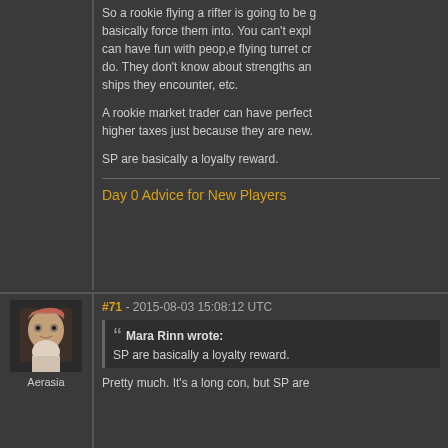So a rookie flying a rifter is going to be basically force them into. You can't expl can have fun with peop,e flying turret cr do. They don't know about strengths an ships they encounter, etc.
A rookie market trader can have perfect higher taxes just because they are new.
SP are basically a loyalty reward.
Day 0 Advice for New Players
[Figure (photo): Avatar image of forum user Aerasia - a female character with short reddish-brown hair against a dark background]
Aerasia
#71 - 2015-08-03 15:08:12 UTC
Mara Rinn wrote: SP are basically a loyalty reward.
Pretty much. It's a long con, but SP are